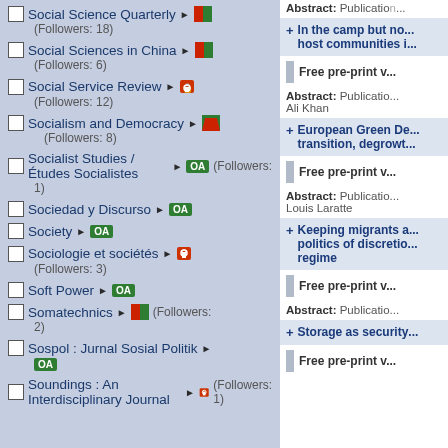Social Science Quarterly (Followers: 18)
Social Sciences in China (Followers: 6)
Social Service Review (Followers: 12)
Socialism and Democracy (Followers: 8)
Socialist Studies / Études Socialistes OA (Followers: 1)
Sociedad y Discurso OA
Society OA
Sociologie et sociétés (Followers: 3)
Soft Power OA
Somatechnics (Followers: 2)
Sospol : Jurnal Sosial Politik OA
Soundings : An Interdisciplinary Journal (Followers: 1)
Abstract: Publication...
In the camp but not... host communities i...
Free pre-print v...
Abstract: Publication... Ali Khan
European Green De... transition, degrowt...
Free pre-print v...
Abstract: Publication... Louis Laratte
Keeping migrants a... politics of discretio... regime
Free pre-print v...
Abstract: Publication...
Storage as security...
Free pre-print v...